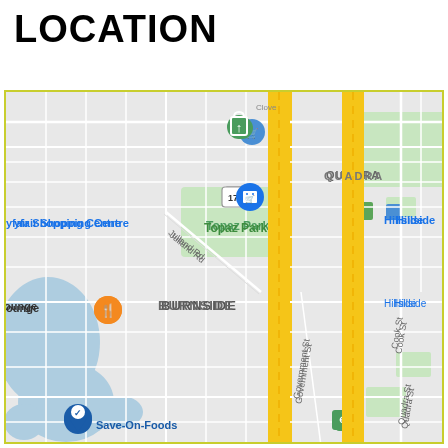LOCATION
[Figure (map): Google Maps screenshot showing Victoria, BC area including neighborhoods: Burnside, Quadra, Hillside-Quadra-Downtown Blanshard, North Park. Shows streets including Quadra St, Cook St, Government St, Julland Rd, Bay St. Landmarks visible: Topaz Park, Hillside Shopping Centre, Mayfair Shopping Centre, Save-On-Foods, and a restaurant/lounge. Major road shown in yellow running north-south.]